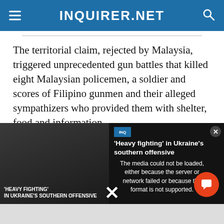INQUIRER.NET
The territorial claim, rejected by Malaysia, triggered unprecedented gun battles that killed eight Malaysian policemen, a soldier and scores of Filipino gunmen and their alleged sympathizers who provided them with shelter, food and information.
Some activists say decades-old flaws in Malaysia's
[Figure (screenshot): Media error overlay with text: The media could not be loaded, either because the server or network failed or because the format is not supported. Background shows a news video thumbnail with text 'HEAVY FIGHTING IN UKRAINE'S SOUTHERN OFFENSIVE' and headline 'Heavy fighting' in Ukraine's southern offensive]